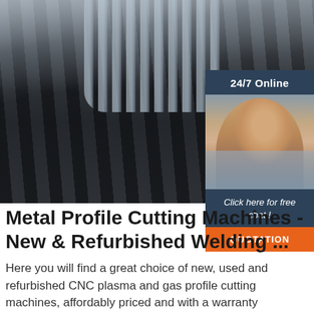[Figure (photo): Industrial factory floor showing a long row of black metal profile cutting machines with transparent plastic curtain strips hanging above them. A conveyor-style production line is visible stretching into the background under a large industrial ceiling.]
[Figure (infographic): Overlay chat widget with dark blue header reading '24/7 Online', a photo of a smiling female customer service representative wearing a headset, italic text 'Click here for free chat !', and an orange button labeled 'QUOTATION'.]
Metal Profile Cutting Machines - New & Refurbished Welding ...
Here you will find a great choice of new, used and refurbished CNC plasma and gas profile cutting machines, affordably priced and with a warranty